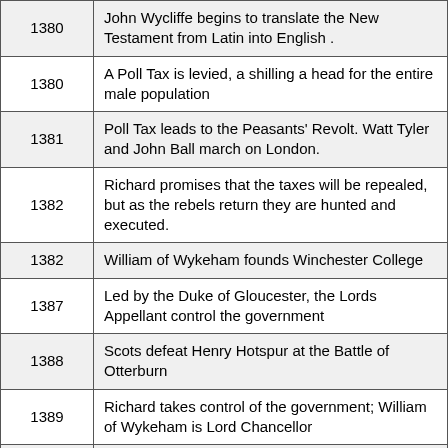| Year | Event |
| --- | --- |
| 1380 | John Wycliffe begins to translate the New Testament from Latin into English . |
| 1380 | A Poll Tax is levied, a shilling a head for the entire male population |
| 1381 | Poll Tax leads to the Peasants' Revolt. Watt Tyler and John Ball march on London. |
| 1382 | Richard promises that the taxes will be repealed, but as the rebels return they are hunted and executed. |
| 1382 | William of Wykeham founds Winchester College |
| 1387 | Led by the Duke of Gloucester, the Lords Appellant control the government |
| 1388 | Scots defeat Henry Hotspur at the Battle of Otterburn |
| 1389 | Richard takes control of the government; William of Wykeham is Lord Chancellor |
| 1394 | Richard leads English army to reconquer west of Ireland. |
| 1396 | Richard marries Isabella daughter of the King of France and signs a 28 year truce with France. |
| 1397 | Richard takes revenge against Lords Appellant and exiles Henry |